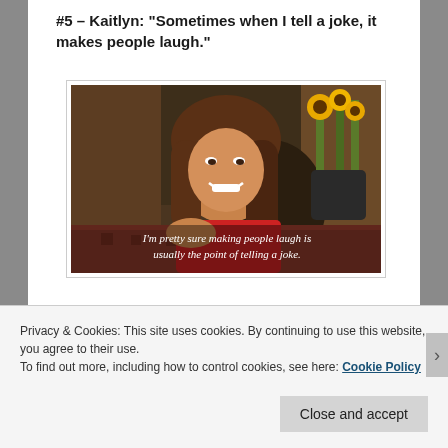#5 – Kaitlyn: "Sometimes when I tell a joke, it makes people laugh."
[Figure (screenshot): A woman smiling and pointing, sitting on a couch with sunflowers in the background. Subtitle overlay reads: I'm pretty sure making people laugh is usually the point of telling a joke.]
#4 – Amber: "My heart literally pumps every time I see
Privacy & Cookies: This site uses cookies. By continuing to use this website, you agree to their use.
To find out more, including how to control cookies, see here: Cookie Policy
Close and accept